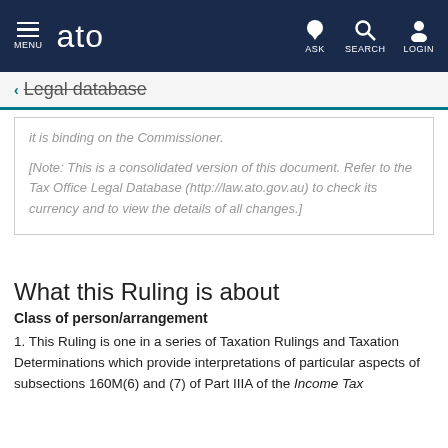MENU | ato | ASK | SEARCH | LOGIN
← Legal database
it is binding on the Commissioner.

[Note: This is a consolidated version of this document. Refer to the Tax Office Legal Database (http://law.ato.gov.au) to check its currency and to view the details of all changes.]
What this Ruling is about
Class of person/arrangement
1.  This Ruling is one in a series of Taxation Rulings and Taxation Determinations which provide interpretations of particular aspects of subsections 160M(6) and (7) of Part IIIA of the Income Tax